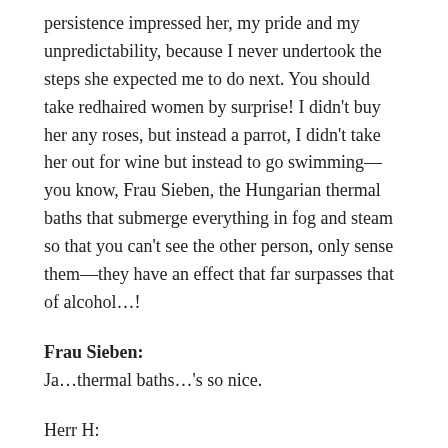persistence impressed her, my pride and my unpredictability, because I never undertook the steps she expected me to do next. You should take redhaired women by surprise! I didn't buy her any roses, but instead a parrot, I didn't take her out for wine but instead to go swimming—you know, Frau Sieben, the Hungarian thermal baths that submerge everything in fog and steam so that you can't see the other person, only sense them—they have an effect that far surpasses that of alcohol…!
Frau Sieben:
Ja…thermal baths…'s so nice.
Herr H:
Vera was … how should I put it…a very modern woman, she had no truck with it only being the man, you, Frau Sieben I can tell you everything….it rained without